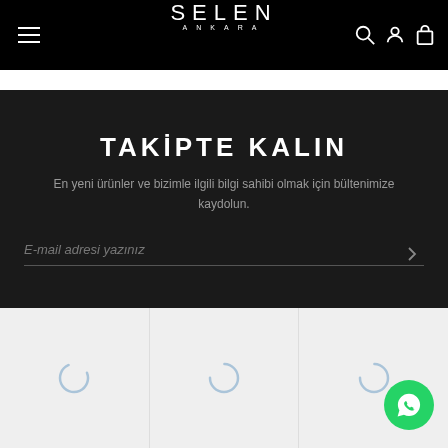SELEN ANKARA — navigation header with menu, logo, search, account, and cart icons
TAKİPTE KALIN
En yeni ürünler ve bizimle ilgili bilgi sahibi olmak için bültenimize kaydolun.
E-mail adresi yazınız
[Figure (screenshot): Three loading spinner icons in a product grid with light gray background]
[Figure (other): WhatsApp floating button (green circle with WhatsApp logo)]